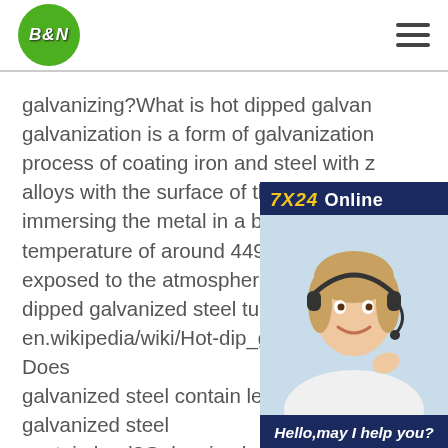B&N logo and navigation menu
galvanizing?What is hot dipped galvanization is a form of galvanization process of coating iron and steel with z alloys with the surface of the base met immersing the metal in a bath of molte temperature of around 449 °C (840 °F) exposed to the atmosphere, the pure z dipped galvanized steel tubes and pipe en.wikipedia/wiki/Hot-dip_galvanization Does galvanized steel contain lead?Does galvanized steel contain lead?Galvanized steel pipes may contain lead, which corrodes quickly and reduces the lifespan of the piping. Moreover, galvanized steel
[Figure (illustration): 7X24 Online customer service advertisement panel with a smiling female customer service representative wearing a headset, text 'Hello, may I help you?' and a yellow 'Get Latest Price' button]